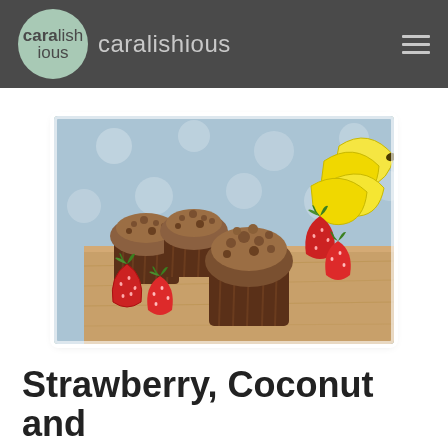caralishious
[Figure (photo): Photograph of strawberry, coconut and banana muffins with crumble topping in brown paper cups on a wooden board, with fresh strawberries and bananas in the background against a blue polka-dot backdrop]
Strawberry, Coconut and Banana Muffins